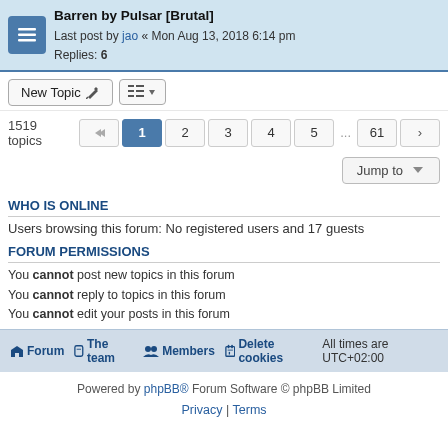Barren by Pulsar [Brutal] Last post by jao « Mon Aug 13, 2018 6:14 pm Replies: 6
New Topic | 1519 topics | 1 2 3 4 5 ... 61
Jump to
WHO IS ONLINE
Users browsing this forum: No registered users and 17 guests
FORUM PERMISSIONS
You cannot post new topics in this forum
You cannot reply to topics in this forum
You cannot edit your posts in this forum
You cannot delete your posts in this forum
You cannot post attachments in this forum
Forum | The team | Members | Delete cookies | All times are UTC+02:00
Powered by phpBB® Forum Software © phpBB Limited
Privacy | Terms